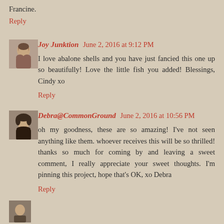Francine.
Reply
Joy Junktion  June 2, 2016 at 9:12 PM
I love abalone shells and you have just fancied this one up so beautifully! Love the little fish you added! Blessings, Cindy xo
Reply
Debra@CommonGround  June 2, 2016 at 10:56 PM
oh my goodness, these are so amazing! I've not seen anything like them. whoever receives this will be so thrilled! thanks so much for coming by and leaving a sweet comment, I really appreciate your sweet thoughts. I'm pinning this project, hope that's OK, xo Debra
Reply